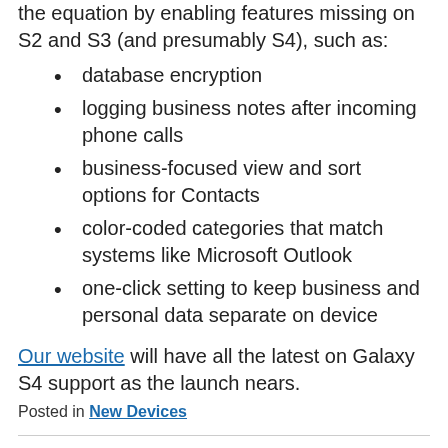the equation by enabling features missing on S2 and S3 (and presumably S4), such as:
database encryption
logging business notes after incoming phone calls
business-focused view and sort options for Contacts
color-coded categories that match systems like Microsoft Outlook
one-click setting to keep business and personal data separate on device
Our website will have all the latest on Galaxy S4 support as the launch nears.
Posted in New Devices
How Will You